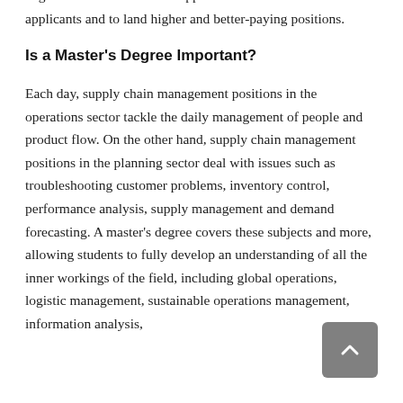degree to make themselves appear more attractive as applicants and to land higher and better-paying positions.
Is a Master's Degree Important?
Each day, supply chain management positions in the operations sector tackle the daily management of people and product flow. On the other hand, supply chain management positions in the planning sector deal with issues such as troubleshooting customer problems, inventory control, performance analysis, supply management and demand forecasting. A master's degree covers these subjects and more, allowing students to fully develop an understanding of all the inner workings of the field, including global operations, logistic management, sustainable operations management, information analysis,